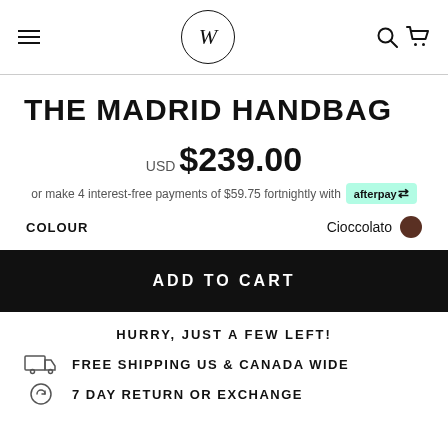W (logo) — navigation header with hamburger menu, search and cart icons
THE MADRID HANDBAG
USD $239.00
or make 4 interest-free payments of $59.75 fortnightly with afterpay
COLOUR   Cioccolato
ADD TO CART
HURRY, JUST A FEW LEFT!
FREE SHIPPING US & CANADA WIDE
7 DAY RETURN OR EXCHANGE